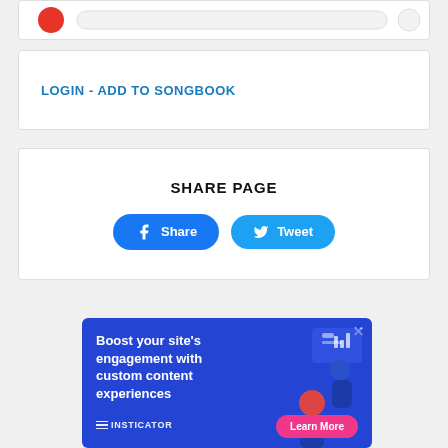[Figure (screenshot): Partial top card with red circle icon and search bar, cut off at top of page]
LOGIN - ADD TO SONGBOOK
SHARE PAGE
[Figure (screenshot): Share buttons: Facebook Share and Twitter Tweet buttons]
[Figure (infographic): Insticator advertisement banner with blue background. Text: 'Boost your site's engagement with custom content experiences'. Logo: INSTICATOR. CTA button: 'Learn More']